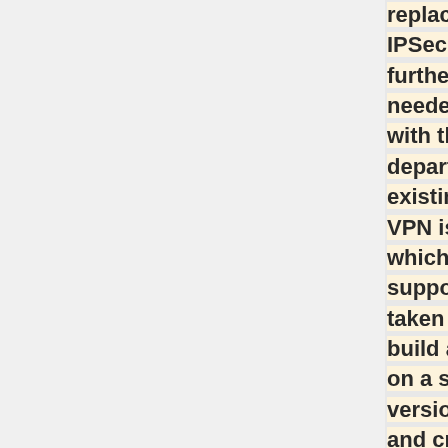replaced the existing IPSec tunnel IP, so further work is needed to rectify this with the Homerton IT department. As the existing Homerton VPN is on ubuntu16, which is no longer supported, we have taken the decision to build a new instance on a supported version of Ubuntu, and create a new tunnel with